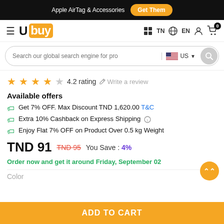Apple AirTag & Accessories  Get Them
[Figure (logo): Ubuy logo with hamburger menu, TN country, EN language, user icon, cart icon with badge 0]
[Figure (screenshot): Search bar with placeholder 'Search our global search engine for pro', US flag region selector, search button]
4.2 rating  Write a review
Available offers
Get 7% OFF. Max Discount TND 1,620.00 T&C
Extra 10% Cashback on Express Shipping
Enjoy Flat 7% OFF on Product Over 0.5 kg Weight
TND 91  TND 95  You Save : 4%
Order now and get it around Friday, September 02
Color
ADD TO CART